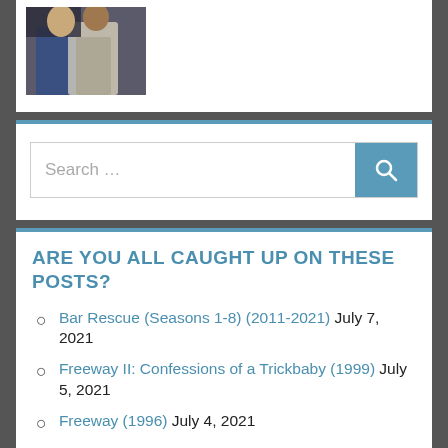[Figure (photo): Partial photo of two people, cropped at top of page]
Search …
ARE YOU ALL CAUGHT UP ON THESE POSTS?
Bar Rescue (Seasons 1-8) (2011-2021) July 7, 2021
Freeway II: Confessions of a Trickbaby (1999) July 5, 2021
Freeway (1996) July 4, 2021